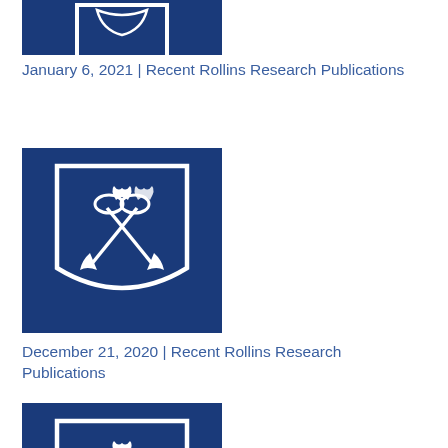[Figure (logo): Rollins College shield logo on dark blue background, partially cropped at top]
January 6, 2021 | Recent Rollins Research Publications
[Figure (logo): Rollins College shield logo with crossed trumpets on dark blue background]
December 21, 2020 | Recent Rollins Research Publications
[Figure (logo): Rollins College shield logo with crossed trumpets on dark blue background, partially cropped at bottom]